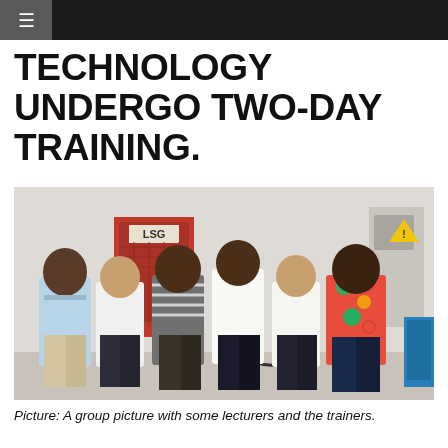☰
TECHNOLOGY UNDERGO TWO-DAY TRAINING.
[Figure (photo): Group photo of six people standing in a room with industrial equipment. Two appear to be Chinese trainers in white shirts, and four are African lecturers wearing various shirts. Behind them is a red industrial machine with an LSG logo and a white wall with a warning sign.]
Picture: A group picture with some lecturers and the trainers.